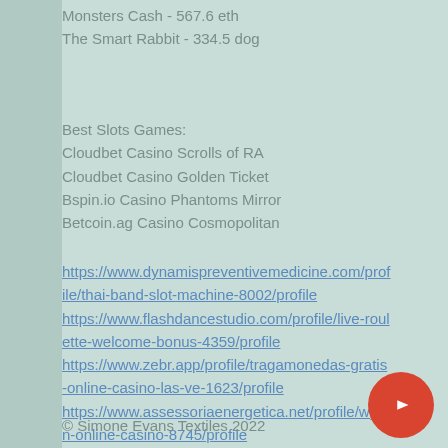Monsters Cash - 567.6 eth
The Smart Rabbit - 334.5 dog
Best Slots Games:
Cloudbet Casino Scrolls of RA
Cloudbet Casino Golden Ticket
Bspin.io Casino Phantoms Mirror
Betcoin.ag Casino Cosmopolitan
https://www.dynamispreventivemedicine.com/profile/thai-band-slot-machine-8002/profile https://www.flashdancestudio.com/profile/live-roulette-welcome-bonus-4359/profile https://www.zebr.app/profile/tragamonedas-gratis-online-casino-las-ve-1623/profile https://www.assessoriaenergetica.net/profile/wynn-online-casino-8745/profile
© Simone Evans Textiles 2022